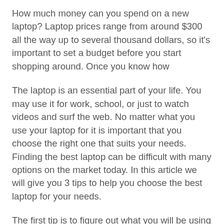How much money can you spend on a new laptop? Laptop prices range from around $300 all the way up to several thousand dollars, so it's important to set a budget before you start shopping around. Once you know how
The laptop is an essential part of your life. You may use it for work, school, or just to watch videos and surf the web. No matter what you use your laptop for it is important that you choose the right one that suits your needs. Finding the best laptop can be difficult with many options on the market today. In this article we will give you 3 tips to help you choose the best laptop for your needs.
The first tip is to figure out what you will be using your laptop for when shopping around. If you need a laptop for school you may want to look at laptops with a smaller screen size and longer battery life. If you are going to be traveling with a laptop often you may want something that has a longer battery life and comes with an extended warranty plan. If you plan on using your